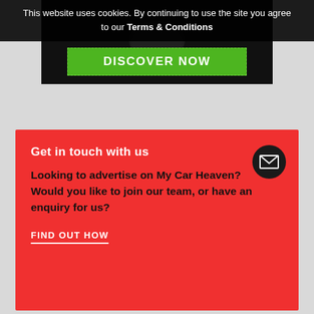This website uses cookies. By continuing to use the site you agree to our Terms & Conditions
[Figure (screenshot): Advertisement banner with dark background, green DISCOVER NOW button and partially visible animal image]
Get in touch with us
Looking to advertise on My Car Heaven? Would you like to join our team, or have an enquiry for us?
FIND OUT HOW